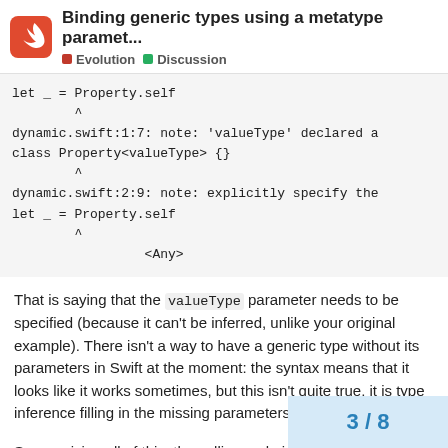Binding generic types using a metatype paramet... | Evolution | Discussion
let _ = Property.self
        ^
dynamic.swift:1:7: note: 'valueType' declared a
class Property<valueType> {}
        ^
dynamic.swift:2:9: note: explicitly specify the
let _ = Property.self
        ^
                 <Any>
That is saying that the valueType parameter needs to be specified (because it can't be inferred, unlike your original example). There isn't a way to have a generic type without its parameters in Swift at the moment: the syntax means that it looks like it works sometimes, but this isn't quite true, it is type inference filling in the missing parameters.
Summarising all of this, the calling code is (in terms of dynamic versus static behavio